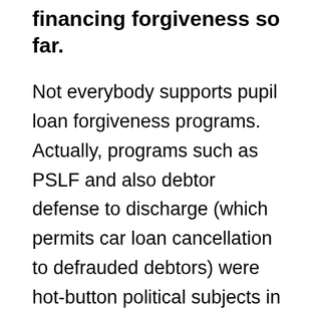financing forgiveness so far.
Not everybody supports pupil loan forgiveness programs. Actually, programs such as PSLF and also debtor defense to discharge (which permits car loan cancellation to defrauded debtors) were hot-button political subjects in the last couple of years.
What's even more, a lot of the income-driven strategies have not been about